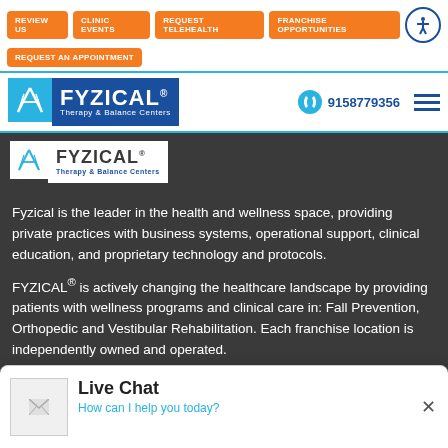REVIEW US | CLINIC EVENTS | REQUEST TELEHEALTH | FRANCHISE OPPORTUNITIES | REQUEST AN APPOINTMENT
[Figure (logo): FYZICAL Therapy & Balance Centers logo with blue icon and dark blue text background, phone number 9158779356, and hamburger menu]
[Figure (logo): FYZICAL Therapy & Balance Centers logo on dark background strip]
Fyzical is the leader in the health and wellness space, providing private practices with business systems, operational support, clinical education, and proprietary technology and protocols. FYZICAL® is actively changing the healthcare landscape by providing patients with wellness programs and clinical care in: Fall Prevention, Orthopedic and Vestibular Rehabilitation. Each franchise location is independently owned and operated.
[Figure (screenshot): Live Chat popup widget at the bottom of the page with title 'Live Chat', subtitle 'How can I help you today?', a placeholder image, and an X close button]